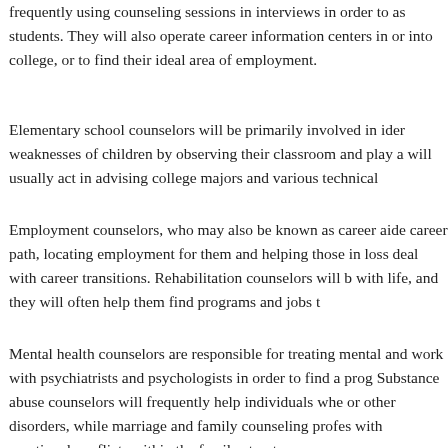frequently using counseling sessions in interviews in order to as students. They will also operate career information centers in or into college, or to find their ideal area of employment.
Elementary school counselors will be primarily involved in ider weaknesses of children by observing their classroom and play a will usually act in advising college majors and various technical
Employment counselors, who may also be known as career aide career path, locating employment for them and helping those in loss deal with career transitions. Rehabilitation counselors will with life, and they will often help them find programs and jobs t
Mental health counselors are responsible for treating mental and work with psychiatrists and psychologists in order to find a prog Substance abuse counselors will frequently help individuals whe or other disorders, while marriage and family counseling profes with emotional conflicts within the family structure.